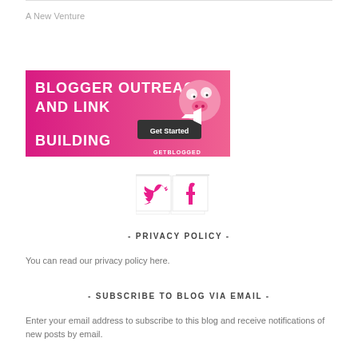A New Venture
[Figure (illustration): Blogger Outreach and Link Building advertisement banner with pink background, cartoon pig character, and 'Get Started' button. Brand: GetBlogged.]
[Figure (infographic): Social share buttons: Twitter bird icon and Facebook 'f' icon in bordered boxes with horizontal rules above.]
- PRIVACY POLICY -
You can read our privacy policy here.
- SUBSCRIBE TO BLOG VIA EMAIL -
Enter your email address to subscribe to this blog and receive notifications of new posts by email.